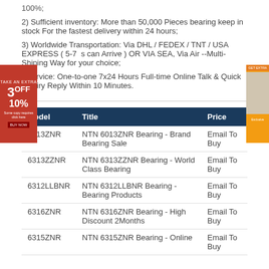100%;
2) Sufficient inventory: More than 50,000 Pieces bearing keep in stock For the fastest delivery within 24 hours;
3) Worldwide Transportation: Via DHL / FEDEX / TNT / USA EXPRESS ( 5-7 s can Arrive ) OR VIA SEA, Via Air --Multi-Shiping Way for your choice;
4) service: One-to-one 7x24 Hours Full-time Online Talk & Quick Inquiry Reply Within 10 Minutes.
| Model | Title | Price |
| --- | --- | --- |
| 6013ZNR | NTN 6013ZNR Bearing - Brand Bearing Sale | Email To Buy |
| 6313ZZNR | NTN 6313ZZNR Bearing - World Class Bearing | Email To Buy |
| 6312LLBNR | NTN 6312LLBNR Bearing - Bearing Products | Email To Buy |
| 6316ZNR | NTN 6316ZNR Bearing - High Discount 2Months | Email To Buy |
| 6315ZNR | NTN 6315ZNR Bearing - Online | Email To Buy |